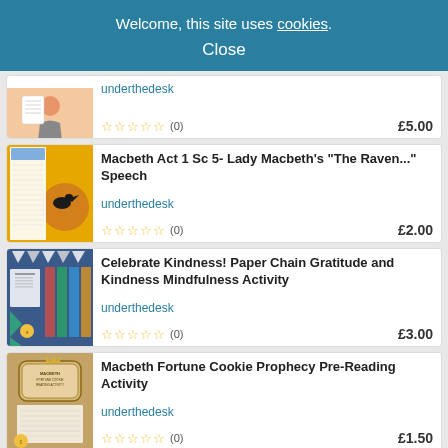Welcome, this site uses cookies. Close
[Figure (screenshot): Product thumbnail - orange/peach background with illustrated figure and notebook worksheet]
underthedesk
☆☆☆☆☆ (0) £5.00
[Figure (screenshot): Product thumbnail - yellow background with raven on moon, Macbeth Lady Macbeth soliloquy guided annotation]
Macbeth Act 1 Sc 5- Lady Macbeth's "The Raven..." Speech
underthedesk
☆☆☆☆☆ (0) £2.00
[Figure (screenshot): Product thumbnail - dark blue background with colorful paper chain mindfulness activity sheets]
Celebrate Kindness! Paper Chain Gratitude and Kindness Mindfulness Activity
underthedesk
☆☆☆☆☆ (0) £3.00
[Figure (screenshot): Product thumbnail - treasure map brown background with fortune cookie activity worksheets]
Macbeth Fortune Cookie Prophecy Pre-Reading Activity
underthedesk
☆☆☆☆☆ (0) £1.50